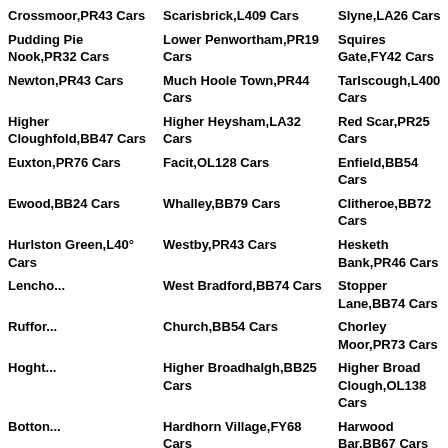Crossmoor,PR43 Cars
Scarisbrick,L409 Cars
Slyne,LA26 Cars
Pudding Pie Nook,PR32 Cars
Lower Penwortham,PR19 Cars
Squires Gate,FY42 Cars
Newton,PR43 Cars
Much Hoole Town,PR44 Cars
Tarlscough,L400 Cars
Higher Cloughfold,BB47 Cars
Higher Heysham,LA32 Cars
Red Scar,PR25 Cars
Euxton,PR76 Cars
Facit,OL128 Cars
Enfield,BB54 Cars
Ewood,BB24 Cars
Whalley,BB79 Cars
Clitheroe,BB72 Cars
Hurlston Green,L40° Cars
Westby,PR43 Cars
Hesketh Bank,PR46 Cars
Lencho...
West Bradford,BB74 Cars
Stopper Lane,BB74 Cars
Ruffor...
Church,BB54 Cars
Chorley Moor,PR73 Cars
Hoght...
Higher Broadhalgh,BB25 Cars
Higher Broad Clough,OL138 Cars
Botton...
Hardhorn Village,FY68 Cars
Harwood Bar,BB67 Cars
Hambl...
Side...
Hardtwood,BB103 Cars
Hornby,LA28 Cars
Towngate,L402 Cars